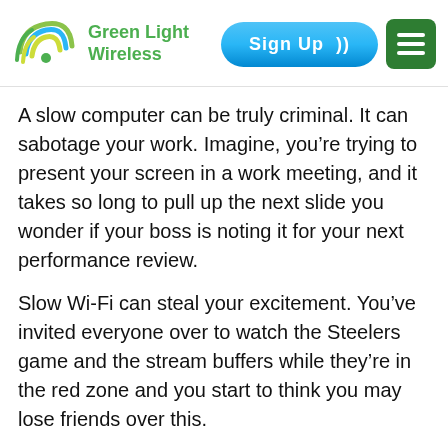[Figure (logo): Green Light Wireless logo with circular wifi signal arcs in green, yellow, and blue, with text 'Green Light Wireless' in green]
A slow computer can be truly criminal. It can sabotage your work. Imagine, you're trying to present your screen in a work meeting, and it takes so long to pull up the next slide you wonder if your boss is noting it for your next performance review.
Slow Wi-Fi can steal your excitement. You've invited everyone over to watch the Steelers game and the stream buffers while they're in the red zone and you start to think you may lose friends over this.
Obviously, there's foul play happening. Right in your home! But how do you identify and catch this